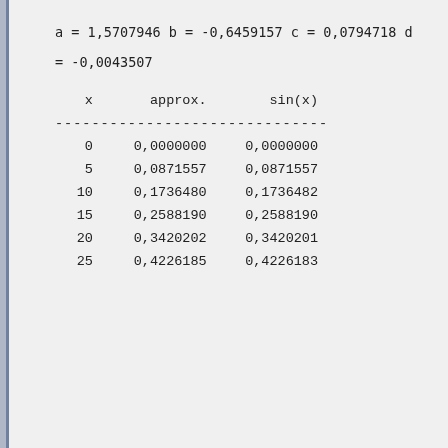a =  1,5707946
b = -0,6459157
c =  0,0794718
d = -0,0043507
| x | approx. | sin(x) |
| --- | --- | --- |
| 0 | 0,0000000 | 0,0000000 |
| 5 | 0,0871557 | 0,0871557 |
| 10 | 0,1736480 | 0,1736482 |
| 15 | 0,2588190 | 0,2588190 |
| 20 | 0,3420202 | 0,3420201 |
| 25 | 0,4226185 | 0,4226183 |